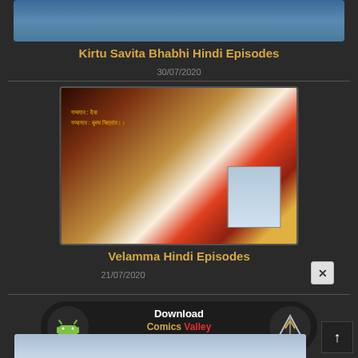[Figure (illustration): Partial view of a cartoon/comic cover image at top]
Kirtu Savita Bhabhi Hindi Episodes
30/07/2020
[Figure (illustration): Comic cover image for Velamma Hindi Episodes showing an animated woman in saree with Hindi text overlay]
Velamma Hindi Episodes
21/07/2020
[Figure (other): Download Comics Valley Android App banner with Android robot icon and CV logo]